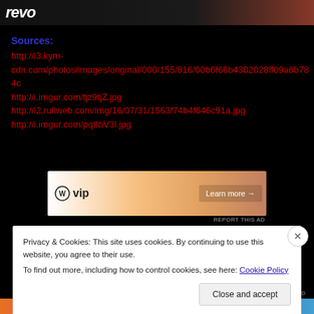[Figure (screenshot): Top portion showing Revo logo on dark background with partial image of person]
Sources:
http://i3.kym-cdn.com/photos/images/original/000/155/816/00b6f66b4302028ff09a6b784c
http://i.imgur.com/tjz9tjZ.jpg
http://i2.rullweb.com/img/16/07/31/1563f74b4f646c91a.jpg
http://i.imgur.com/pq8bV3l.jpg
[Figure (screenshot): VIP advertisement banner with Learn more button]
REPORT THIS AD
Privacy & Cookies: This site uses cookies. By continuing to use this website, you agree to their use.
To find out more, including how to control cookies, see here: Cookie Policy
Close and accept